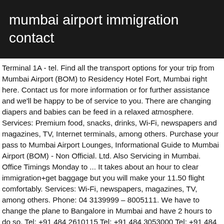mumbai airport immigration contact
Terminal 1A - tel. Find all the transport options for your trip from Mumbai Airport (BOM) to Residency Hotel Fort, Mumbai right here. Contact us for more information or for further assistance and we'll be happy to be of service to you. There are changing diapers and babies can be feed in a relaxed atmosphere. Services: Premium food, snacks, drinks, Wi-Fi, newspapers and magazines, TV, Internet terminals, among others. Purchase your pass to Mumbai Airport Lounges, Informational Guide to Mumbai Airport (BOM) - Non Official. Ltd. Also Servicing in Mumbai. Office Timings Monday to ... It takes about an hour to clear immigration+get baggage but you will make your 11.50 flight comfortably. Services: Wi-Fi, newspapers, magazines, TV, among others. Phone: 04 3139999 – 8005111. We have to change the plane to Bangalore in Mumbai and have 2 hours to do so. Tel: +91 484 2610115 Tel: +91 484 3053000 Tel: +91 484 3053300 Fax: +91 484 2610012 Rome2rio makes travelling from Mumbai Airport (BOM) to Residency Hotel Fort, Mumbai easy. to 1800 Hrs. They will usually run you through. Road, Shantinagar, Bangalore - 560027, 20/1305, Castle View, Thiruvannur Road, Panniyankara,Kallai PO, Kozhikode,KERALA-673003, frrocal[at]nic[dot]in ,frro-clt[at]nic[dot]in, Shastri Bhawan Annexe Building